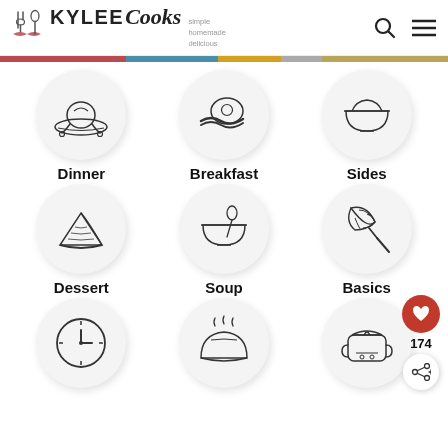KYLEE Cooks — simple homemade delicious
[Figure (illustration): Kylee Cooks logo with utensils icon, site name, and tagline 'simple homemade delicious' with search and menu icons]
[Figure (illustration): Decorative color bar with red, teal, yellow, gray, and olive segments]
[Figure (illustration): Dinner category icon — roast turkey/chicken on platter in circle]
Dinner
[Figure (illustration): Breakfast category icon — fried egg with bacon in circle]
Breakfast
[Figure (illustration): Sides category icon — bowl with food in circle]
Sides
[Figure (illustration): Dessert category icon — slice of pie in circle]
Dessert
[Figure (illustration): Soup category icon — bowl with spoon in circle]
Soup
[Figure (illustration): Basics category icon — whisk in circle]
Basics
[Figure (illustration): Clock/quick meals category icon — clock face in circle]
[Figure (illustration): Bread category icon — steaming loaf of bread in circle]
[Figure (illustration): Slow cooker/Instant Pot category icon — slow cooker appliance in circle]
174